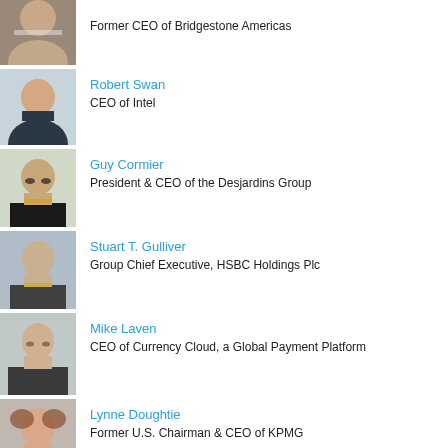[Figure (photo): Portrait photo of a senior man, partial view at top]
Former CEO of Bridgestone Americas
[Figure (photo): Portrait photo of Robert Swan]
Robert Swan
CEO of Intel
[Figure (photo): Portrait photo of Guy Cormier]
Guy Cormier
President & CEO of the Desjardins Group
[Figure (photo): Portrait photo of Stuart T. Gulliver]
Stuart T. Gulliver
Group Chief Executive, HSBC Holdings Plc
[Figure (photo): Portrait photo of Mike Laven]
Mike Laven
CEO of Currency Cloud, a Global Payment Platform
[Figure (photo): Portrait photo of Lynne Doughtie]
Lynne Doughtie
Former U.S. Chairman & CEO of KPMG
[Figure (photo): Portrait photo of Peter Smith, partial view at bottom]
Peter Smith